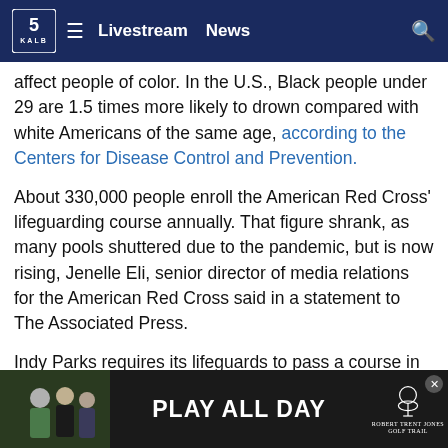KALB 5 — Livestream | News
affect people of color. In the U.S., Black people under 29 are 1.5 times more likely to drown compared with white Americans of the same age, according to the Centers for Disease Control and Prevention.
About 330,000 people enroll the American Red Cross' lifeguarding course annually. That figure shrank, as many pools shuttered due to the pandemic, but is now rising, Jenelle Eli, senior director of media relations for the American Red Cross said in a statement to The Associated Press.
Indy Parks requires its lifeguards to pass a course in which they swim 100 yards, tread water for a minute without using their hands and retrieve a 10-pound object from the bottom. Starting pay is $15 an hour, up from $13 an hour...
[Figure (advertisement): PLAY ALL DAY advertisement banner with Robert Trent Jones Golf Trail logo]